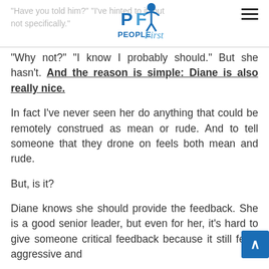People First logo and navigation
“Have you told him?”  “I’ve hinted to it, but not specifically.”
“Why not?”  “I know I probably should.”  But she hasn’t. And the reason is simple: Diane is also really nice.
In fact I’ve never seen her do anything that could be remotely construed as mean or rude. And to tell someone that they drone on feels both mean and rude.
But, is it?
Diane knows she should provide the feedback.  She is a good senior leader, but even for her, it’s hard to give someone critical feedback because it still feels aggressive and